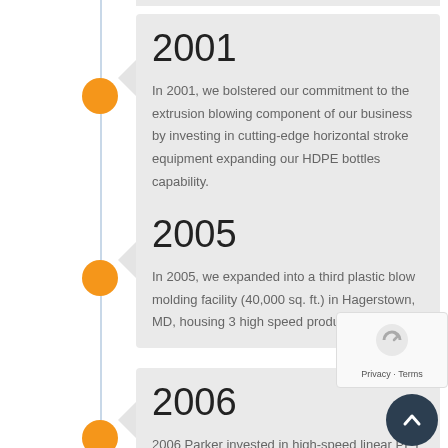2001
In 2001, we bolstered our commitment to the extrusion blowing component of our business by investing in cutting-edge horizontal stroke equipment expanding our HDPE bottles capability.
2005
In 2005, we expanded into a third plastic blow molding facility (40,000 sq. ft.) in Hagerstown, MD, housing 3 high speed production lines.
2006
2006 Parker invested in high-speed linear PET technology at an Ohio area facility.